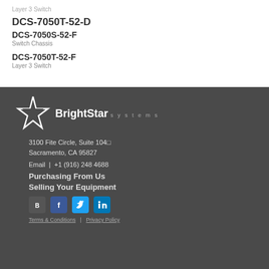Layer 3 Switch
DCS-7050T-52-D
DCS-7050S-52-F
Switch Chassis
DCS-7050T-52-F
Layer 3 Switch
[Figure (logo): BrightStar Systems logo with star icon in white on dark background]
3100 Fite Circle, Suite 104
Sacramento, CA 95827
Email  |  +1 (916) 248 4688
Purchasing From Us
Selling Your Equipment
[Figure (other): Social media icons: BBB, Facebook, Twitter, LinkedIn]
Terms & Conditions  |  Privacy Policy